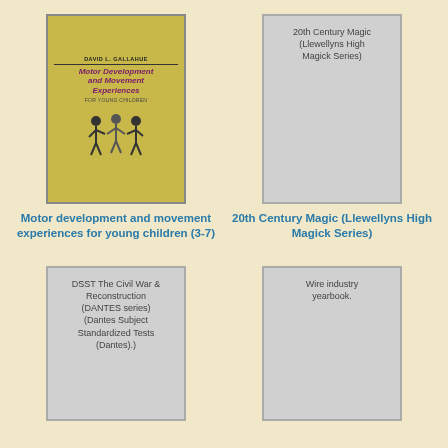[Figure (photo): Book cover of 'Motor Development and Movement Experiences for Young Children' by David L. Gallahue, yellow/olive cover with illustration of children]
[Figure (illustration): Placeholder gray cover for '20th Century Magic (Llewellyns High Magick Series)' with title text inside]
Motor development and movement experiences for young children (3-7)
20th Century Magic (Llewellyns High Magick Series)
[Figure (illustration): Placeholder gray cover for 'DSST The Civil War & Reconstruction (DANTES series) (Dantes Subject Standardized Tests (Dantes).)' with title text inside]
[Figure (illustration): Placeholder gray cover for 'Wire industry yearbook.' with title text inside]